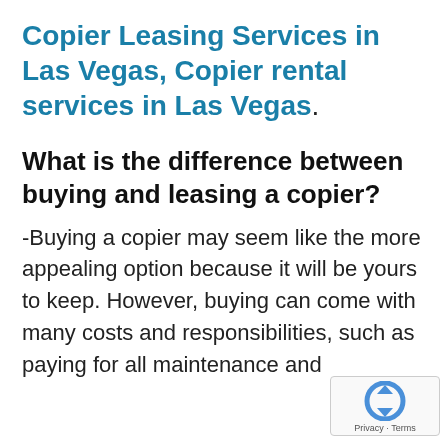Copier Leasing Services in Las Vegas, Copier rental services in Las Vegas.
What is the difference between buying and leasing a copier?
-Buying a copier may seem like the more appealing option because it will be yours to keep. However, buying can come with many costs and responsibilities, such as paying for all maintenance and